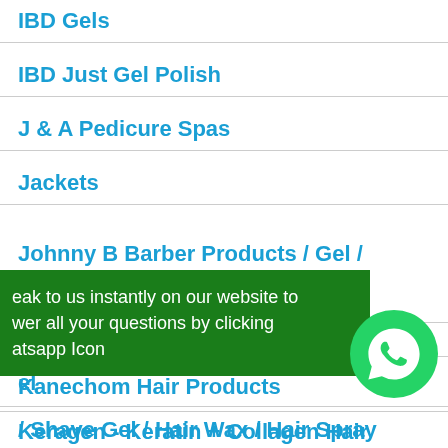IBD Gels
IBD Just Gel Polish
J & A Pedicure Spas
Jackets
Johnny B Barber Products / Gel / After Shave / Pomade / Beard Oil
jRL Clippers / Trimmers / Shavers
Kanechom Hair Products
Keragen - Keratin + Collagen Hair
eak to us instantly on our website to wer all your questions by clicking atsapp Icon
/ Shave Gel / Hair Wax / Hair Spray